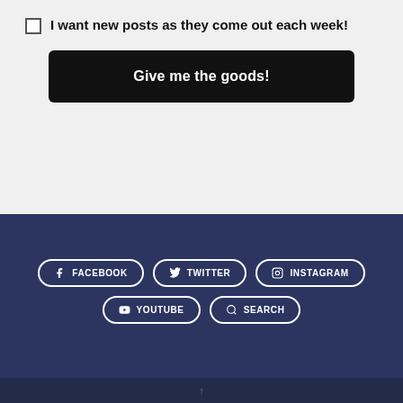I want new posts as they come out each week!
Give me the goods!
[Figure (other): Social media link buttons: FACEBOOK, TWITTER, INSTAGRAM, YOUTUBE, SEARCH in pill-shaped bordered buttons on dark navy background]
↑